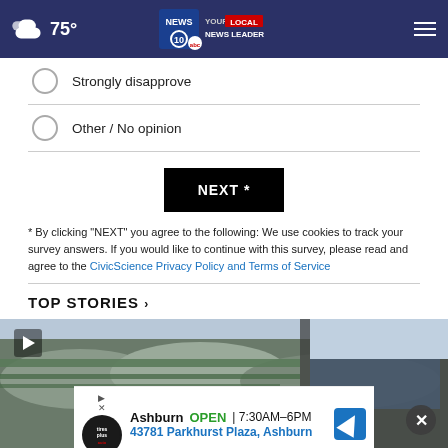75° — NEWS 10 YOUR LOCAL NEWS LEADER
Strongly disapprove
Other / No opinion
NEXT *
* By clicking "NEXT" you agree to the following: We use cookies to track your survey answers. If you would like to continue with this survey, please read and agree to the CivicScience Privacy Policy and Terms of Service
TOP STORIES ›
[Figure (photo): Photo of a building with green structural canopy, curved roof architecture visible. Video play button overlay in top-left. An advertisement banner at the bottom shows 'Ashburn OPEN | 7:30AM–6PM, 43781 Parkhurst Plaza, Ashburn' with a Tires Plus auto logo and navigation icon.]